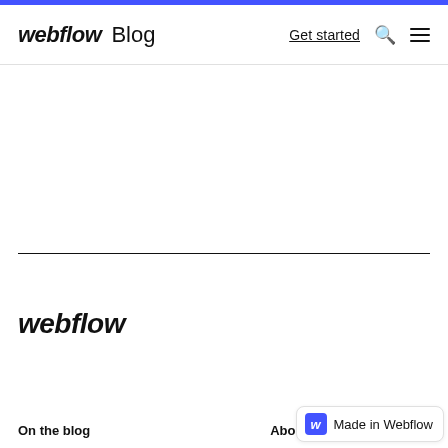webflow Blog | Get started
[Figure (illustration): Large empty white content area with a horizontal black divider line near the bottom third of the content region]
[Figure (logo): webflow logo in large bold italic black text]
On the blog   About Webflow
[Figure (logo): Made in Webflow badge with blue W icon and text 'Made in Webflow']